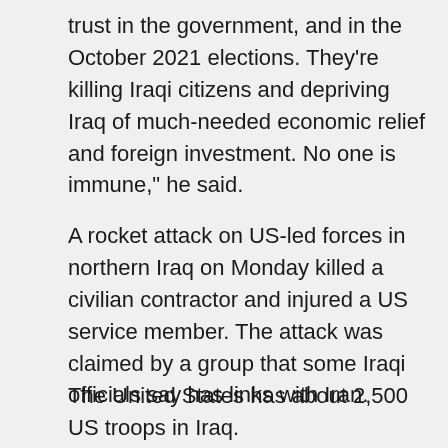trust in the government, and in the October 2021 elections. They're killing Iraqi citizens and depriving Iraq of much-needed economic relief and foreign investment. No one is immune," he said.
A rocket attack on US-led forces in northern Iraq on Monday killed a civilian contractor and injured a US service member. The attack was claimed by a group that some Iraqi officials say has links with Iran.
The United States has about 2,500 US troops in Iraq.